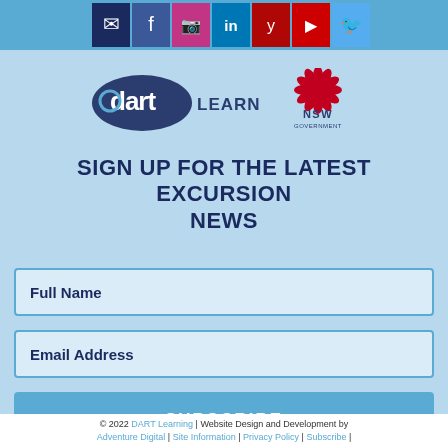[Figure (other): Social media icon bar with email, Facebook, Instagram, LinkedIn, Yelp, YouTube, Twitter icons on a blue background]
[Figure (logo): DART Learning logo and NSW Government logo side by side on light blue background]
SIGN UP FOR THE LATEST EXCURSION NEWS
[Figure (other): Full Name input field (form element)]
[Figure (other): Email Address input field (form element)]
[Figure (other): SUBSCRIBE button]
© 2022 DART Learning | Website Design and Development by Adventure Digital | Site Information | Privacy Policy | Subscribe |